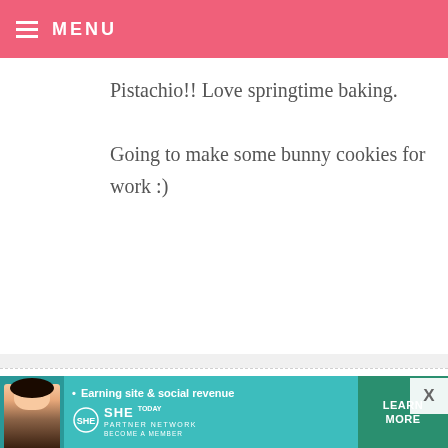MENU
Pistachio!! Love springtime baking. Going to make some bunny cookies for work :)
JEANNIED — APRIL 13, 2014 @ 11:35 PM REPLY
Pistachio!
JULIE — APRIL 13, 2014 @ 11:35 PM REPLY
White! So crisp and clean!
[Figure (infographic): SHE Media partner network advertisement banner with teal background, woman photo, tagline 'Earning site & social revenue', SHE logo, LEARN MORE button]